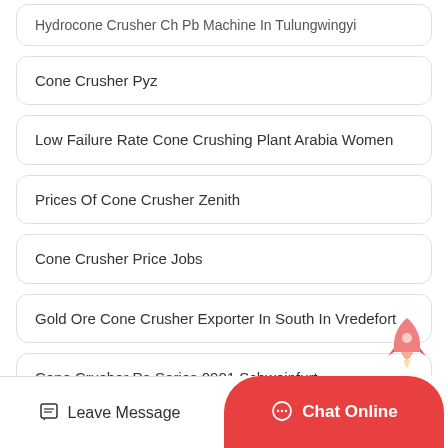Hydrocone Crusher Ch Pb Machine In Tulungwingyi
Cone Crusher Pyz
Low Failure Rate Cone Crushing Plant Arabia Women
Prices Of Cone Crusher Zenith
Cone Crusher Price Jobs
Gold Ore Cone Crusher Exporter In South In Vredefort
Cone Crusher Pa Series 0901 Schweinfurt
Cone Crusher Pa Sirius Xm Ch...
Leave Message | Chat Online